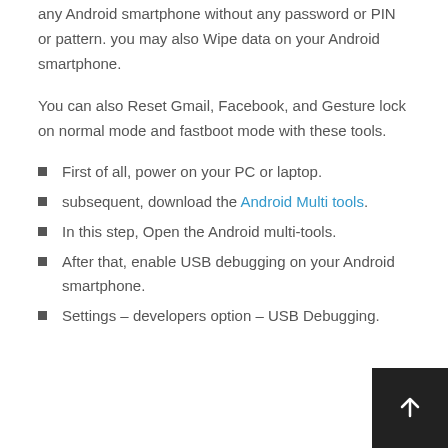any Android smartphone without any password or PIN or pattern. you may also Wipe data on your Android smartphone.
You can also Reset Gmail, Facebook, and Gesture lock on normal mode and fastboot mode with these tools.
First of all, power on your PC or laptop.
subsequent, download the Android Multi tools.
In this step, Open the Android multi-tools.
After that, enable USB debugging on your Android smartphone.
Settings – developers option – USB Debugging.